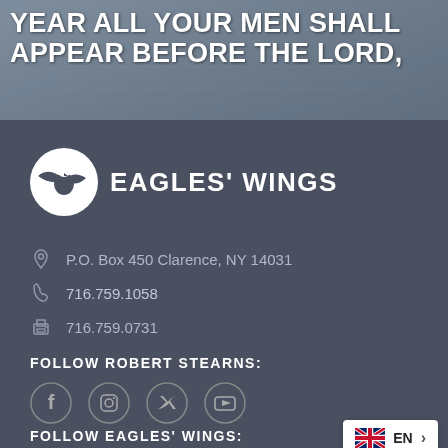[Figure (photo): Background image of a Bible page with overlaid white bold text reading 'YEAR ALL YOUR MEN SHALL APPEAR BEFORE THE LORD,']
YEAR ALL YOUR MEN SHALL APPEAR BEFORE THE LORD,
[Figure (logo): Eagles' Wings logo: white circular eagle icon with stylized wing/swoosh and bold uppercase text 'EAGLES' WINGS']
P.O. Box 450 Clarence, NY 14031
716.759.1058
716.759.0731
FOLLOW ROBERT STEARNS:
[Figure (infographic): Four social media icons in circles: Facebook, Instagram, Twitter, YouTube]
FOLLOW EAGLES' WINGS:
[Figure (infographic): Language selector widget showing UK flag, 'EN', and a right arrow chevron on white background]